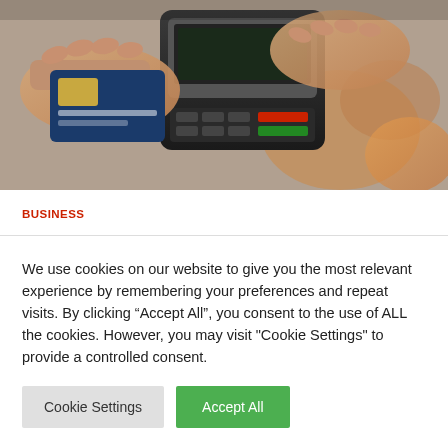[Figure (photo): Close-up of hands using a credit card payment terminal / POS device]
BUSINESS
What You Must Know About What Credit score Card Swipe Charges are Doing to Your Pockets?
jasabacklink   11 hours ago
We use cookies on our website to give you the most relevant experience by remembering your preferences and repeat visits. By clicking “Accept All”, you consent to the use of ALL the cookies. However, you may visit "Cookie Settings" to provide a controlled consent.